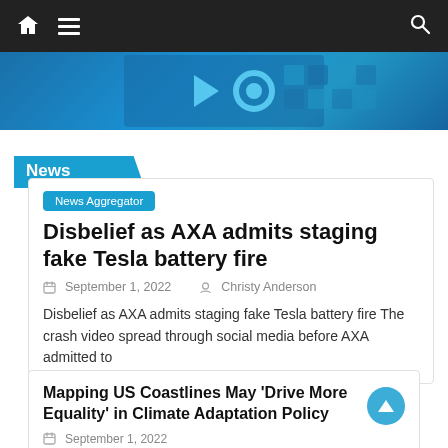Navigation bar with home icon, menu, and search
[Figure (screenshot): Hero banner image with blue tech/digital tile icons including a gear and navigation symbols on dark blue background]
News
News Aggregator
Disbelief as AXA admits staging fake Tesla battery fire
September 1, 2022   Christy Anderson
Disbelief as AXA admits staging fake Tesla battery fire The crash video spread through social media before AXA admitted to
Mapping US Coastlines May 'Drive More Equality' in Climate Adaptation Policy
September 1, 2022